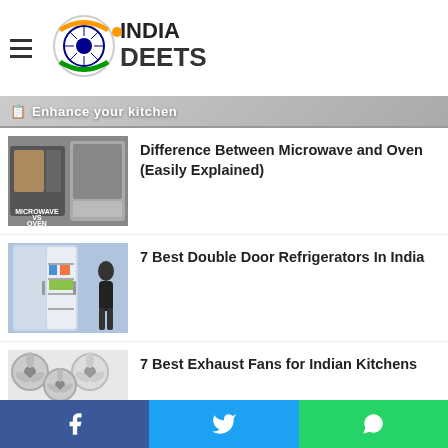INDIA DEETS
[Figure (illustration): India Deets logo with Ashoka chakra emblem and orange/green/blue text]
Enhance your kitchen
[Figure (photo): Microwave vs Oven comparison photo]
Difference Between Microwave and Oven (Easily Explained)
[Figure (photo): Double door refrigerator with woman]
7 Best Double Door Refrigerators In India
[Figure (photo): Exhaust fans collage for Indian kitchens]
7 Best Exhaust Fans for Indian Kitchens
[Figure (photo): Pop up bread toaster]
7 Best Pop Up Bread Toasters in India